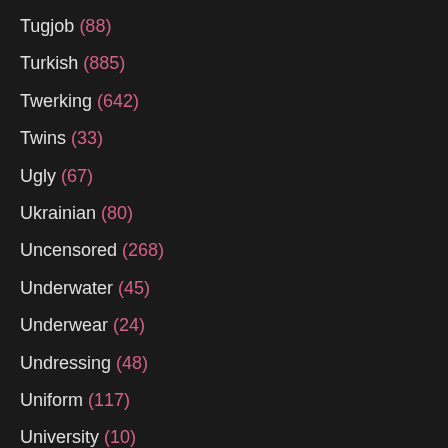Tugjob (88)
Turkish (885)
Twerking (642)
Twins (33)
Ugly (67)
Ukrainian (80)
Uncensored (268)
Underwater (45)
Underwear (24)
Undressing (48)
Uniform (117)
University (10)
Unshaved (13)
Upskirt (1163)
Urethra (16)
VIP (38)